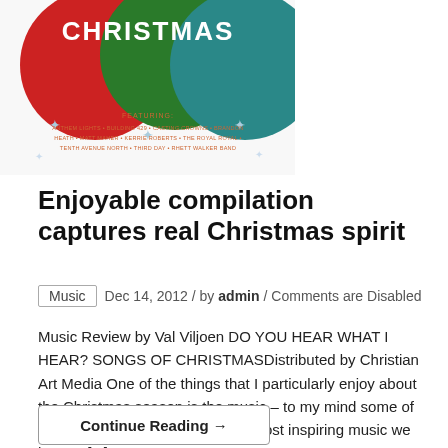[Figure (illustration): Album cover for 'Do You Hear What I Hear? Songs of Christmas' featuring three overlapping circles in red, green and teal with 'CHRISTMAS' text, snowflake decorations, and a list of featured artists including Anthem Lights, Building 429, Casting Crowns, Brandon Heath, Matt Maher, Kerrie Roberts, The Royal Royal, Tenth Avenue North, Third Day, Rhett Walker Band.]
Enjoyable compilation captures real Christmas spirit
Music  Dec 14, 2012 / by admin / Comments are Disabled
Music Review by Val Viljoen DO YOU HEAR WHAT I HEAR? SONGS OF CHRISTMASDistributed by Christian Art Media One of the things that I particularly enjoy about the Christmas season is the music – to my mind some of the traditional carols remain the most inspiring music we have. I [...]
Continue Reading →